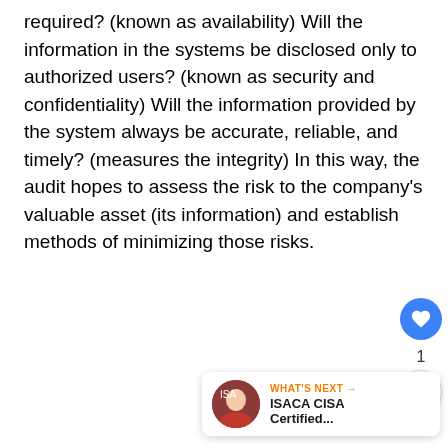required? (known as availability) Will the information in the systems be disclosed only to authorized users? (known as security and confidentiality) Will the information provided by the system always be accurate, reliable, and timely? (measures the integrity) In this way, the audit hopes to assess the risk to the company's valuable asset (its information) and establish methods of minimizing those risks.
[Figure (other): Like button (blue circle with heart icon), like count '1', and share button (white circle with share icon) on the right side of the page]
[Figure (other): What's Next promotional card showing 'WHAT'S NEXT →' label with 'ISACA CISA Certified...' title and a circular photo thumbnail]